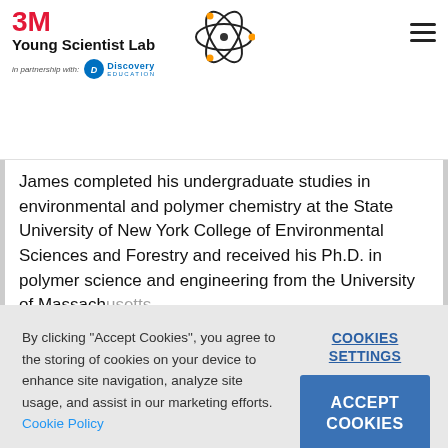[Figure (logo): 3M Young Scientist Lab logo with atom icon and Discovery Education partnership badge]
James completed his undergraduate studies in environmental and polymer chemistry at the State University of New York College of Environmental Sciences and Forestry and received his Ph.D. in polymer science and engineering from the University of Massachusetts
By clicking "Accept Cookies", you agree to the storing of cookies on your device to enhance site navigation, analyze site usage, and assist in our marketing efforts. Cookie Policy
COOKIES SETTINGS
ACCEPT COOKIES